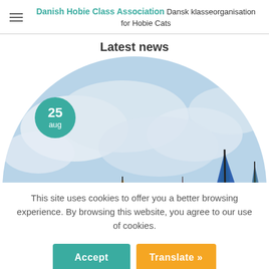Danish Hobie Class Association Dansk klasseorganisation for Hobie Cats
Latest news
[Figure (photo): Circular cropped photo of colorful Hobie Cat sailboats on the water with a blue cloudy sky background. A teal circle badge with '25 aug' overlays the top-left of the image.]
This site uses cookies to offer you a better browsing experience. By browsing this website, you agree to our use of cookies.
Accept
Translate »